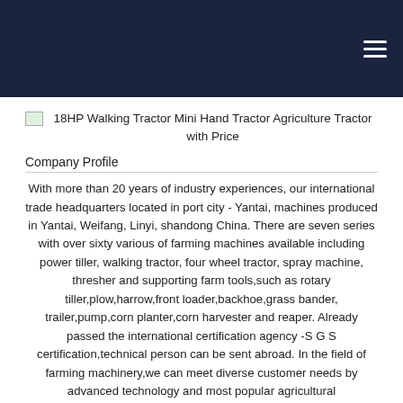18HP Walking Tractor Mini Hand Tractor Agriculture Tractor with Price
Company Profile
With more than 20 years of industry experiences, our international trade headquarters located in port city - Yantai, machines produced in Yantai, Weifang, Linyi, shandong China. There are seven series with over sixty various of farming machines available including power tiller, walking tractor, four wheel tractor, spray machine, thresher and supporting farm tools,such as rotary tiller,plow,harrow,front loader,backhoe,grass bander, trailer,pump,corn planter,corn harvester and reaper. Already passed the international certification agency -S G S certification,technical person can be sent abroad. In the field of farming machinery,we can meet diverse customer needs by advanced technology and most popular agricultural machine.Exported to more than forty countries especially South